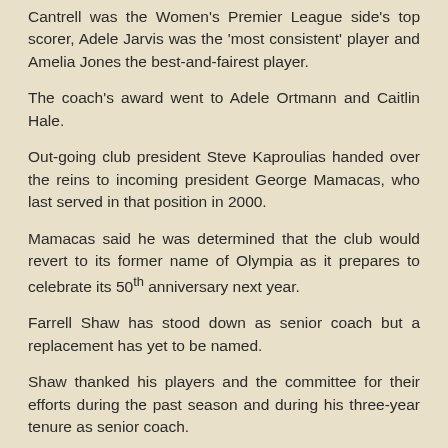Cantrell was the Women's Premier League side's top scorer, Adele Jarvis was the 'most consistent' player and Amelia Jones the best-and-fairest player.
The coach's award went to Adele Ortmann and Caitlin Hale.
Out-going club president Steve Kaproulias handed over the reins to incoming president George Mamacas, who last served in that position in 2000.
Mamacas said he was determined that the club would revert to its former name of Olympia as it prepares to celebrate its 50th anniversary next year.
Farrell Shaw has stood down as senior coach but a replacement has yet to be named.
Shaw thanked his players and the committee for their efforts during the past season and during his three-year tenure as senior coach.
Defender Chris Tsimiklis, who is in his fifth year of a medical degree next year, will be based in Launceston and may not be able to play for Olympic next season.